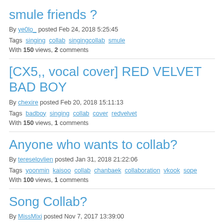smule friends ?
By ye0lo_ posted Feb 24, 2018 5:25:45
Tags singing collab singingcollab smule
With 150 views, 2 comments
[CX5,, vocal cover] RED VELVET BAD BOY
By chexire posted Feb 20, 2018 15:11:13
Tags badboy singing collab cover redvelvet
With 150 views, 1 comments
Anyone who wants to collab?
By tereselovlien posted Jan 31, 2018 21:22:06
Tags yoonmin kaisoo collab chanbaek collaboration vkook sope
With 100 views, 1 comments
Song Collab?
By MissMixi posted Nov 7, 2017 13:39:00
Tags singer exo collab bts rapper collaboration blackpink
With 100 views, 1 comments